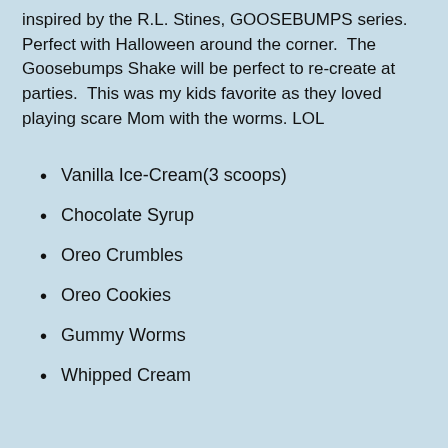inspired by the R.L. Stines, GOOSEBUMPS series. Perfect with Halloween around the corner. The Goosebumps Shake will be perfect to re-create at parties. This was my kids favorite as they loved playing scare Mom with the worms. LOL
Vanilla Ice-Cream(3 scoops)
Chocolate Syrup
Oreo Crumbles
Oreo Cookies
Gummy Worms
Whipped Cream